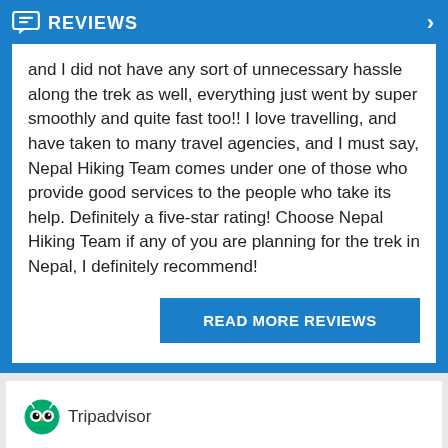REVIEWS
and I did not have any sort of unnecessary hassle along the trek as well, everything just went by super smoothly and quite fast too!! I love travelling, and have taken to many travel agencies, and I must say, Nepal Hiking Team comes under one of those who provide good services to the people who take its help. Definitely a five-star rating! Choose Nepal Hiking Team if any of you are planning for the trek in Nepal, I definitely recommend!
READ MORE REVIEWS
[Figure (logo): Tripadvisor owl logo]
Tripadvisor
Nepal Hiking Team
Tripadvisor Traveler Rating
995 reviews